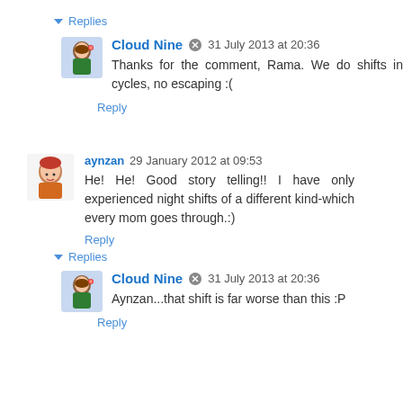▾ Replies
Cloud Nine 🔘 31 July 2013 at 20:36
Thanks for the comment, Rama. We do shifts in cycles, no escaping :(
Reply
aynzan 29 January 2012 at 09:53
He! He! Good story telling!! I have only experienced night shifts of a different kind-which every mom goes through.:)
Reply
▾ Replies
Cloud Nine 🔘 31 July 2013 at 20:36
Aynzan...that shift is far worse than this :P
Reply